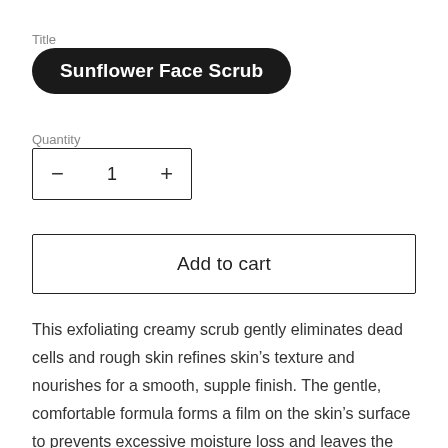Title
Sunflower Face Scrub
Quantity
— 1 +
Add to cart
This exfoliating creamy scrub gently eliminates dead cells and rough skin refines skin's texture and nourishes for a smooth, supple finish. The gentle, comfortable formula forms a film on the skin's surface to prevents excessive moisture loss and leaves the skin restored, polished, and radiant. Infused with a blend of Jojoba, Sweet Almond, and Olive oil to hydrate and buff dry, dull skin for a silky smooth and